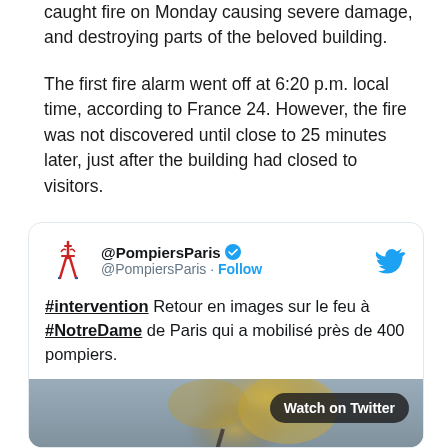caught fire on Monday causing severe damage, and destroying parts of the beloved building.
The first fire alarm went off at 6:20 p.m. local time, according to France 24. However, the fire was not discovered until close to 25 minutes later, just after the building had closed to visitors.
[Figure (screenshot): Embedded tweet from @PompiersParis with verified badge and Follow button, tweet text reading '#intervention Retour en images sur le feu à #NotreDame de Paris qui a mobilisé près de 400 pompiers.' with a video thumbnail showing Notre Dame with smoke and a play button, and a 'Watch on Twitter' button.]